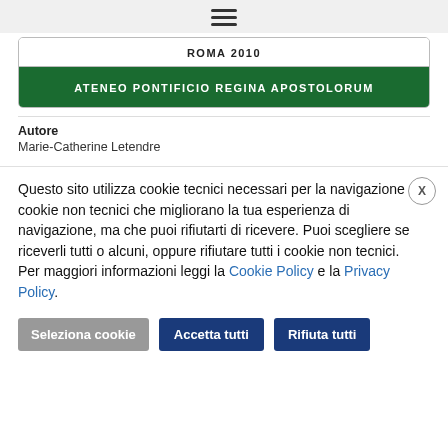[Figure (other): Hamburger menu icon (three horizontal lines) on gray background]
ROMA 2010
ATENEO PONTIFICIO REGINA APOSTOLORUM
Autore
Marie-Catherine Letendre
Questo sito utilizza cookie tecnici necessari per la navigazione e cookie non tecnici che migliorano la tua esperienza di navigazione, ma che puoi rifiutarti di ricevere. Puoi scegliere se riceverli tutti o alcuni, oppure rifiutare tutti i cookie non tecnici. Per maggiori informazioni leggi la Cookie Policy e la Privacy Policy.
Seleziona cookie
Accetta tutti
Rifiuta tutti